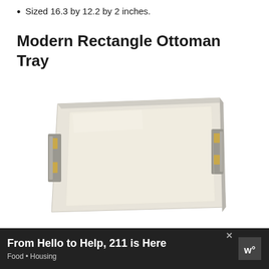Convenient handles for carrying around.
Sized 16.3 by 12.2 by 2 inches.
Modern Rectangle Ottoman Tray
[Figure (photo): A modern rectangle ottoman tray with a cream/off-white surface and gold metallic handles on each side, viewed from above at a slight angle. The tray has a light gray/silver frame with decorative gold bar handles on the left and right sides.]
From Hello to Help, 211 is Here
Food • Housing